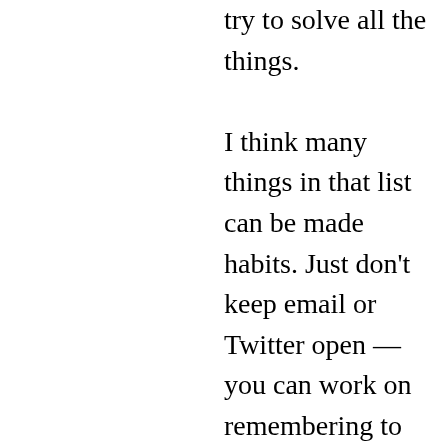try to solve all the things.

I think many things in that list can be made habits. Just don't keep email or Twitter open — you can work on remembering to quit them after you've made a pass. Or meditate just 10 minutes a day — you